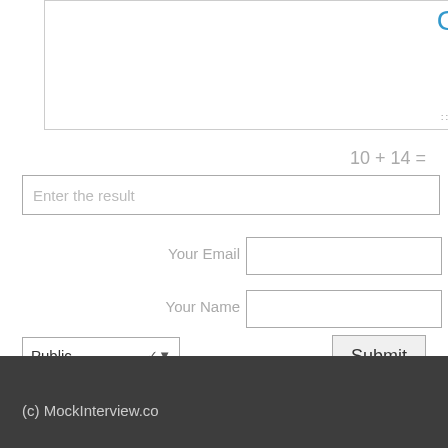[Figure (screenshot): Textarea input box with blue loading indicator and resize handle in bottom right]
10 + 14 =
Enter the result
Your Email
Your Name
Public
Submit
(c) MockInterview.co